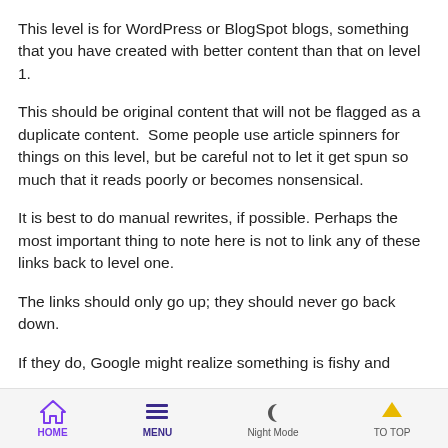This level is for WordPress or BlogSpot blogs, something that you have created with better content than that on level 1.
This should be original content that will not be flagged as a duplicate content.  Some people use article spinners for things on this level, but be careful not to let it get spun so much that it reads poorly or becomes nonsensical.
It is best to do manual rewrites, if possible. Perhaps the most important thing to note here is not to link any of these links back to level one.
The links should only go up; they should never go back down.
If they do, Google might realize something is fishy and
HOME  MENU  Night Mode  TO TOP